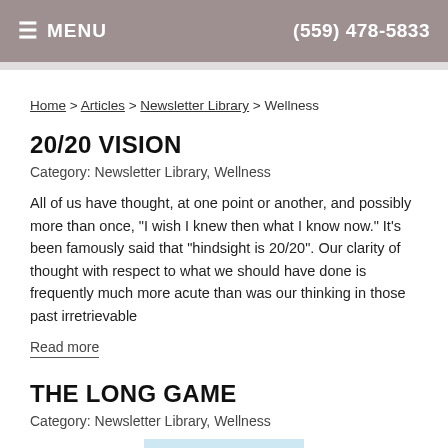≡ MENU    (559) 478-5833
Home > Articles > Newsletter Library > Wellness
20/20 VISION
Category: Newsletter Library, Wellness
All of us have thought, at one point or another, and possibly more than once, "I wish I knew then what I know now." It's been famously said that "hindsight is 20/20". Our clarity of thought with respect to what we should have done is frequently much more acute than was our thinking in those past irretrievable
Read more
THE LONG GAME
Category: Newsletter Library, Wellness
[Figure (photo): Person silhouette photo thumbnail for The Long Game article]